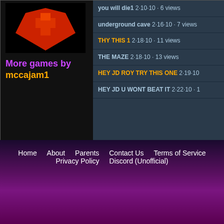[Figure (screenshot): Game thumbnail image showing a red character on black background]
More games by mccajam1
you will die1  2·10·10 · 6 views
underground cave  2·16·10 · 7 views
THY THIS 1  2·18·10 · 11 views
THE MAZE  2·18·10 · 13 views
HEY JD ROY TRY THIS ONE  2·19·10
HEY JD U WONT BEAT IT  2·22·10 · 1
Home   About   Parents   Contact Us   Terms of Service   Privacy Policy   Discord (Unofficial)